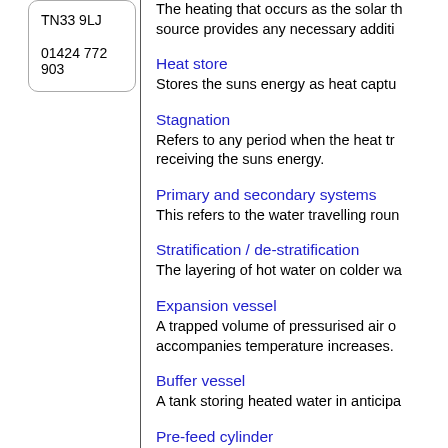TN33 9LJ
01424 772 903
The heating that occurs as the solar th source provides any necessary additi
Heat store
Stores the suns energy as heat captu
Stagnation
Refers to any period when the heat tr receiving the suns energy.
Primary and secondary systems
This refers to the water travelling roun
Stratification / de-stratification
The layering of hot water on colder wa
Expansion vessel
A trapped volume of pressurised air o accompanies temperature increases.
Buffer vessel
A tank storing heated water in anticipa
Pre-feed cylinder
A cylinder placed between the cold wa
Manifold
Any pipe with several outlets to or fro
Calorifier
A water storage vessel, which has the within it.